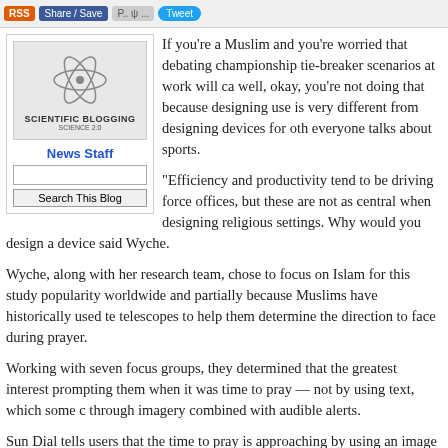RSS | Share/Save | Tweet
[Figure (logo): Scientific Blogging - Science 2.0 logo with atom graphic, News Staff label, and Search This Blog button]
If you're a Muslim and you're worried that debating championship tie-breaker scenarios at work will ca... well, okay, you're not doing that because designing... use is very different from designing devices for oth... everyone talks about sports.
"Efficiency and productivity tend to be driving force... offices, but these are not as central when designing... religious settings. Why would you design a device said Wyche.
Wyche, along with her research team, chose to focus on Islam for this study... popularity worldwide and partially because Muslims have historically used te... telescopes to help them determine the direction to face during prayer.
Working with seven focus groups, they determined that the greatest interest... prompting them when it was time to pray — not by using text, which some c... through imagery combined with audible alerts.
Sun Dial tells users that the time to pray is approaching by using an image c...